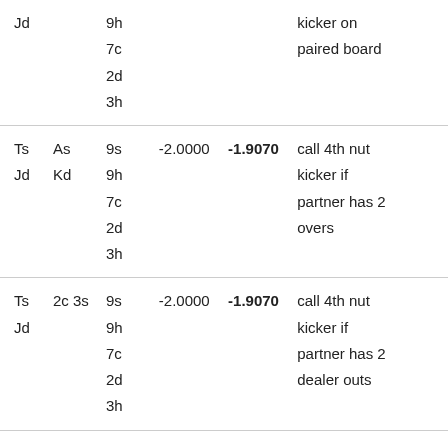| Jd |  | 9h
7c
2d
3h |  |  | kicker on
paired board |
| Ts
Jd | As
Kd | 9s
9h
7c
2d
3h | -2.0000 | -1.9070 | call 4th nut
kicker if
partner has 2
overs |
| Ts
Jd | 2c 3s | 9s
9h
7c
2d
3h | -2.0000 | -1.9070 | call 4th nut
kicker if
partner has 2
dealer outs |